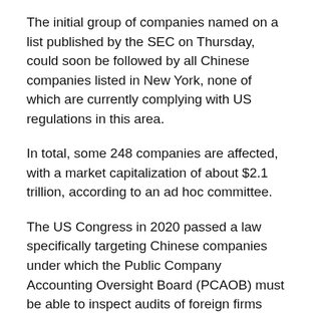The initial group of companies named on a list published by the SEC on Thursday, could soon be followed by all Chinese companies listed in New York, none of which are currently complying with US regulations in this area.
In total, some 248 companies are affected, with a market capitalization of about $2.1 trillion, according to an ad hoc committee.
The US Congress in 2020 passed a law specifically targeting Chinese companies under which the Public Company Accounting Oversight Board (PCAOB) must be able to inspect audits of foreign firms listed on US markets.
Mainland Chinese and Hong Kong companies are notorious for not submitting their financial statements to US-approved auditors.